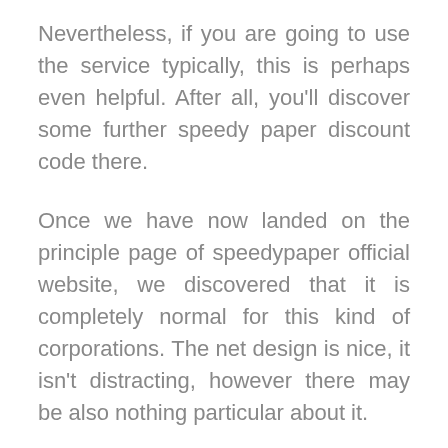Nevertheless, if you are going to use the service typically, this is perhaps even helpful. After all, you'll discover some further speedy paper discount code there.
Once we have now landed on the principle page of speedypaper official website, we discovered that it is completely normal for this kind of corporations. The net design is nice, it isn't distracting, however there may be also nothing particular about it.